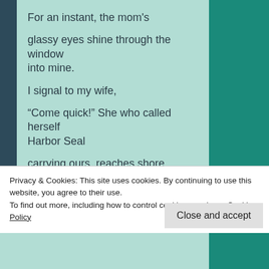For an instant, the mom's
glassy eyes shine through the window into mine.
I signal to my wife,
“Come quick!”  She who called herself Harbor Seal
carrying ours, reaches shore
first. Each mother bellows and barks
but nothing happens.  Dogs and bipeds
gather near; pelicans flock to check out
Privacy & Cookies: This site uses cookies. By continuing to use this website, you agree to their use.
To find out more, including how to control cookies, see here: Cookie Policy